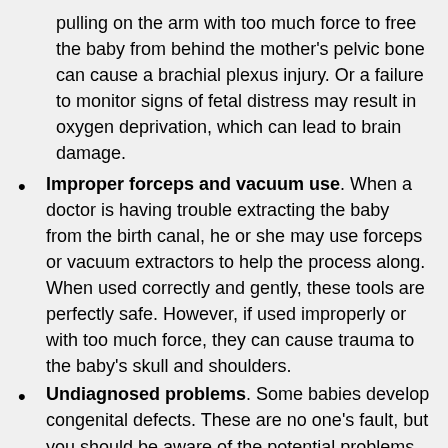pulling on the arm with too much force to free the baby from behind the mother's pelvic bone can cause a brachial plexus injury. Or a failure to monitor signs of fetal distress may result in oxygen deprivation, which can lead to brain damage.
Improper forceps and vacuum use. When a doctor is having trouble extracting the baby from the birth canal, he or she may use forceps or vacuum extractors to help the process along. When used correctly and gently, these tools are perfectly safe. However, if used improperly or with too much force, they can cause trauma to the baby's skull and shoulders.
Undiagnosed problems. Some babies develop congenital defects. These are no one's fault, but you should be aware of the potential problems your child may face, so you can prepare. A doctor or medical professional who fails to diagnose a birth defect could be held liable for any complications